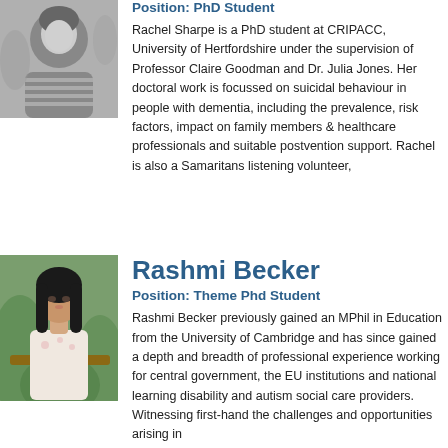[Figure (photo): Black and white photo of Rachel Sharpe, a young woman with long hair wearing a striped top, outdoors]
Position: PhD Student
Rachel Sharpe is a PhD student at CRIPACC, University of Hertfordshire under the supervision of Professor Claire Goodman and Dr. Julia Jones. Her doctoral work is focussed on suicidal behaviour in people with dementia, including the prevalence, risk factors, impact on family members & healthcare professionals and suitable postvention support. Rachel is also a Samaritans listening volunteer,
[Figure (photo): Colour photo of Rashmi Becker, a young woman with long dark hair, seated outdoors near greenery]
Rashmi Becker
Position: Theme Phd Student
Rashmi Becker previously gained an MPhil in Education from the University of Cambridge and has since gained a depth and breadth of professional experience working for central government, the EU institutions and national learning disability and autism social care providers. Witnessing first-hand the challenges and opportunities arising in